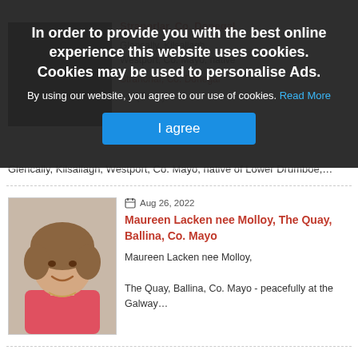In order to provide you with the best online experience this website uses cookies. Cookies may be used to personalise Ads.
By using our website, you agree to our use of cookies. Read More
I agree
Glencally, Kilsallagh, Westport, Co. Mayo, native of Lower Drumboe,…
[Figure (photo): Portrait photo of Maureen Lacken nee Molloy, a woman with short curly hair wearing a pink top]
Aug 26, 2022
Maureen Lacken nee Molloy, The Quay, Ballina, Co. Mayo
Maureen Lacken nee Molloy,

The Quay, Ballina, Co. Mayo - peacefully at the Galway…
[Figure (photo): Partial portrait photo of a person at the bottom of the page]
Aug 25, 2022
Frank Clarke, Late of…